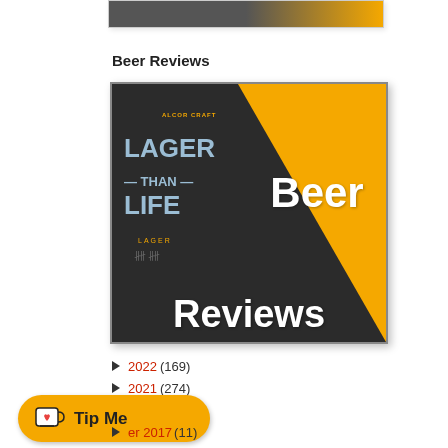[Figure (photo): Partial top image of beer can with yellow background, cropped at top of page]
Beer Reviews
[Figure (photo): Beer Reviews thumbnail image showing a beer can labeled 'Lager Than Life Lager' on a dark background with orange/yellow triangle, overlaid with large white text 'Beer Reviews']
► 2022 (169)
► 2021 (274)
► 2020 (231)
► 2019 (102)
► 2018 (50)
► ...er 2017 (11)
► November 2017 (30)